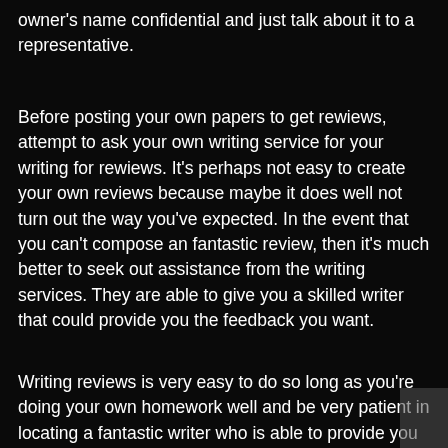owner's name confidential and just talk about it to a representative.
Before posting your own papers to get rewiews, attempt to ask your own writing service for your writing for rewiews. It's perhaps not easy to create your own reviews because maybe it does well not turn out the way you've expected. In the event that you can't compose an fantastic review, then it's much better to seek out assistance from the writing services. They are able to give you a skilled writer that could provide you the feedback you want.
Writing reviews is very easy to do so long as you're doing your own homework well and be very patient in locating a fantastic writer who is able to provide you with superior quality writing for rewiews. Do not